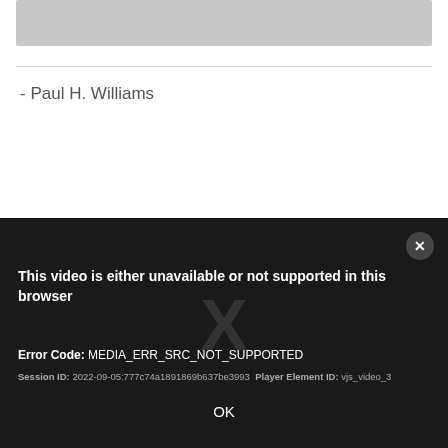[Figure (screenshot): Gray video player placeholder box at the top of the page]
- Paul H. Williams
This video is either unavailable or not supported in this browser

Error Code: MEDIA_ERR_SRC_NOT_SUPPORTED
Session ID: 2022-09-05:777c74a1891869b637be3993  Player Element ID: vjs_video_3

OK